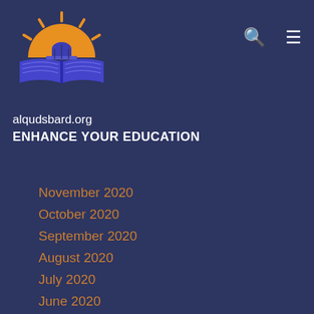[Figure (logo): alqudsbard.org logo with sun, dome, and book in blue and orange colors]
alqudsbard.org
ENHANCE YOUR EDUCATION
November 2020
October 2020
September 2020
August 2020
July 2020
June 2020
May 2020
April 2020
March 2020
February 2020
January 2020